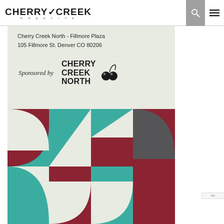CHERRY CREEK magazine
Cherry Creek North - Fillmore Plaza
105 Fillmore St. Denver CO 80206
Sponsored by Cherry Creek North
[Figure (illustration): Geometric abstract art with grid of squares featuring circles, quarter-circles, and diagonal shapes in teal, dark red/maroon, cream/off-white, and dark gray colors forming a decorative pattern]
[Figure (logo): Cherry Creek North logo with stylized cherry icon]